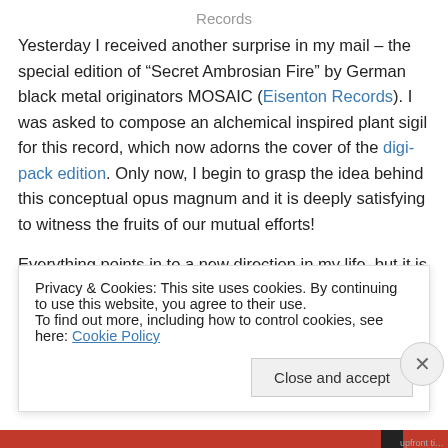Records
Yesterday I received another surprise in my mail – the special edition of “Secret Ambrosian Fire” by German black metal originators MOSAIC (Eisenton Records). I was asked to compose an alchemical inspired plant sigil for this record, which now adorns the cover of the digi-pack edition. Only now, I begin to grasp the idea behind this conceptual opus magnum and it is deeply satisfying to witness the fruits of our mutual efforts!
Everything points in to a new direction in my life, but it is
Privacy & Cookies: This site uses cookies. By continuing to use this website, you agree to their use.
To find out more, including how to control cookies, see here: Cookie Policy
Close and accept